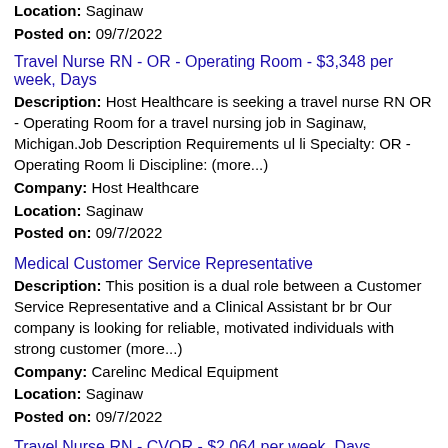Location: Saginaw
Posted on: 09/7/2022
Travel Nurse RN - OR - Operating Room - $3,348 per week, Days
Description: Host Healthcare is seeking a travel nurse RN OR - Operating Room for a travel nursing job in Saginaw, Michigan.Job Description Requirements ul li Specialty: OR - Operating Room li Discipline: (more...)
Company: Host Healthcare
Location: Saginaw
Posted on: 09/7/2022
Medical Customer Service Representative
Description: This position is a dual role between a Customer Service Representative and a Clinical Assistant br br Our company is looking for reliable, motivated individuals with strong customer (more...)
Company: Carelinc Medical Equipment
Location: Saginaw
Posted on: 09/7/2022
Travel Nurse RN - CVOR - $2,064 per week, Days
Description: Lead Healthstaff is seeking a travel nurse RN CVOR for a travel nursing job in Saginaw, Michigan.Job Description Requirements ul li ...